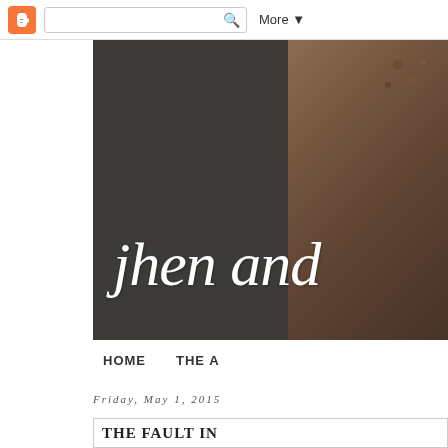Blogger navigation bar with search and More button
[Figure (photo): Blog header image with dark background and cursive script text reading 'jhen and' with blurred photo on right side]
HOME    THE A
Friday, May 1, 2015
THE FAULT IN